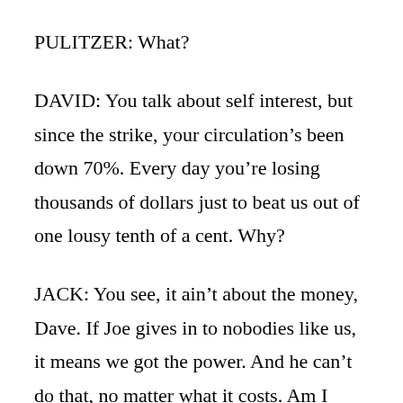PULITZER: What?
DAVID: You talk about self interest, but since the strike, your circulation’s been down 70%. Every day you’re losing thousands of dollars just to beat us out of one lousy tenth of a cent. Why?
JACK: You see, it ain’t about the money, Dave. If Joe gives in to nobodies like us, it means we got the power. And he can’t do that, no matter what it costs. Am I right, Joe?